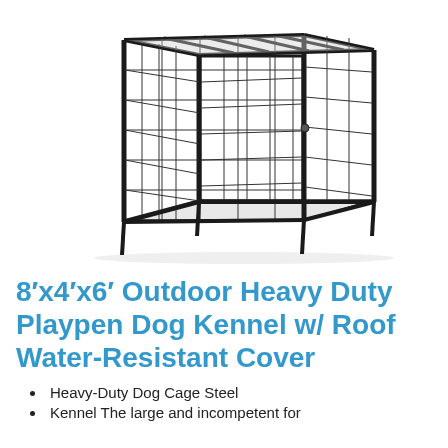[Figure (photo): Photograph of a black heavy-duty outdoor dog kennel/playpen with wire mesh panels and a roof frame, viewed at an angle showing the front door and side panels.]
8′x4′x6′ Outdoor Heavy Duty Playpen Dog Kennel w/ Roof Water-Resistant Cover
Heavy-Duty Dog Cage Steel
Kennel The large and incompetent for